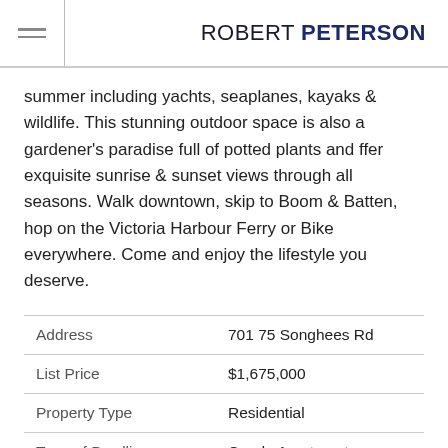ROBERT PETERSON
summer including yachts, seaplanes, kayaks & wildlife. This stunning outdoor space is also a gardener's paradise full of potted plants and ffer exquisite sunrise & sunset views through all seasons. Walk downtown, skip to Boom & Batten, hop on the Victoria Harbour Ferry or Bike everywhere. Come and enjoy the lifestyle you deserve.
|  |  |
| --- | --- |
| Address | 701 75 Songhees Rd |
| List Price | $1,675,000 |
| Property Type | Residential |
| Type of Dwelling | Condo Apartment |
| Area | Victoria West |